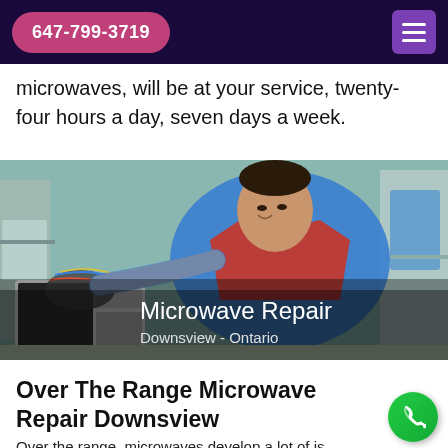647-799-3719
microwaves, will be at your service, twenty-four hours a day, seven days a week.
[Figure (photo): Technician in blue and red uniform repairing an open microwave oven on a workbench. Overlaid text reads 'Microwave Repair' and 'Downsview - Ontario'.]
Over The Range Microwave Repair Downsview
Over the range, microwaves develop a lot of is due to the constant exposure to heat and grea